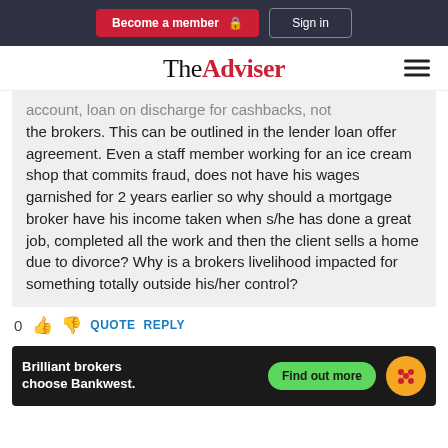Become a member | Sign in
[Figure (logo): The Adviser logo with hamburger menu icon]
account, loan on discharge for cashbacks, not the brokers. This can be outlined in the lender loan offer agreement. Even a staff member working for an ice cream shop that commits fraud, does not have his wages garnished for 2 years earlier so why should a mortgage broker have his income taken when s/he has done a great job, completed all the work and then the client sells a home due to divorce? Why is a brokers livelihood impacted for something totally outside his/her control?
0 QUOTE REPLY
[Figure (screenshot): Bankwest advertisement banner: 'Brilliant brokers choose Bankwest.' with 'Find out more' button and Bankwest logo]